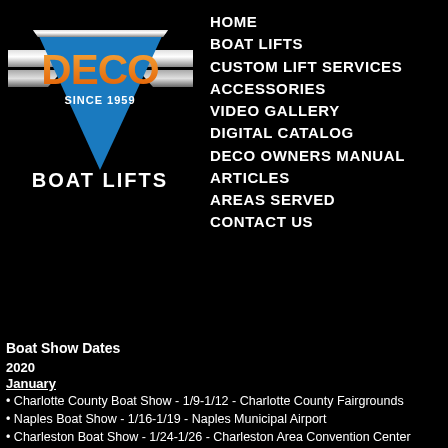[Figure (logo): DECO Boat Lifts logo — triangular blue/silver emblem with orange DECO text and 'SINCE 1959' text, with wings/chevron design, and 'BOAT LIFTS' text below]
HOME
BOAT LIFTS
CUSTOM LIFT SERVICES
ACCESSORIES
VIDEO GALLERY
DIGITAL CATALOG
DECO OWNERS MANUAL
ARTICLES
AREAS SERVED
CONTACT US
Boat Show Dates
2020
January
• Charlotte County Boat Show - 1/9-1/12 - Charlotte County Fairgrounds
• Naples Boat Show - 1/16-1/19 - Naples Municipal Airport
• Charleston Boat Show - 1/24-1/26 - Charleston Area Convention Center